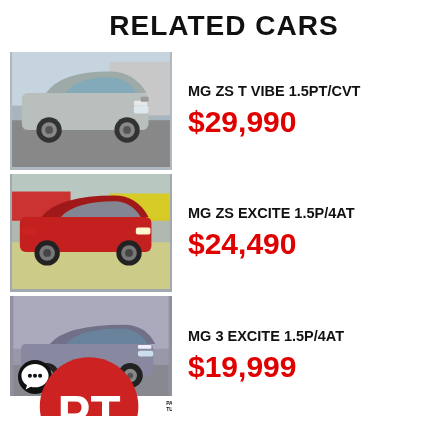RELATED CARS
[Figure (photo): Photo of a silver MG ZS T SUV in a car yard]
MG ZS T VIBE 1.5PT/CVT
$29,990
[Figure (photo): Photo of a red MG ZS Excite SUV in a car yard with colourful cars in background]
MG ZS EXCITE 1.5P/4AT
$24,490
[Figure (photo): Photo of a grey MG 3 Excite hatchback with Paul Tullett dealership branding and No Deposit Finance Available text]
MG 3 EXCITE 1.5P/4AT
$19,999